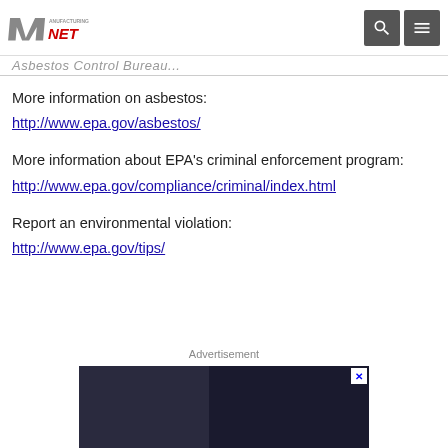Manufacturing.net
Asbestos Control Bureau...
More information on asbestos:
http://www.epa.gov/asbestos/
More information about EPA's criminal enforcement program:
http://www.epa.gov/compliance/criminal/index.html
Report an environmental violation:
http://www.epa.gov/tips/
Advertisement
[Figure (photo): Advertisement banner showing a person in a hard hat with text 'Why 80% of']